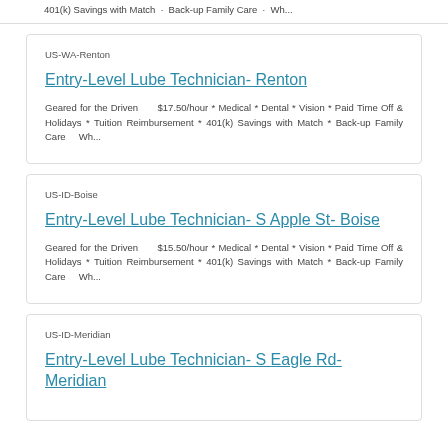401(k) Savings with Match · Back-up Family Care · Wh...
US-WA-Renton
Entry-Level Lube Technician- Renton
Geared for the Driven    $17.50/hour * Medical * Dental * Vision * Paid Time Off & Holidays * Tuition Reimbursement * 401(k) Savings with Match * Back-up Family Care    Wh...
US-ID-Boise
Entry-Level Lube Technician- S Apple St- Boise
Geared for the Driven    $15.50/hour * Medical * Dental * Vision * Paid Time Off & Holidays * Tuition Reimbursement * 401(k) Savings with Match * Back-up Family Care    Wh...
US-ID-Meridian
Entry-Level Lube Technician- S Eagle Rd- Meridian